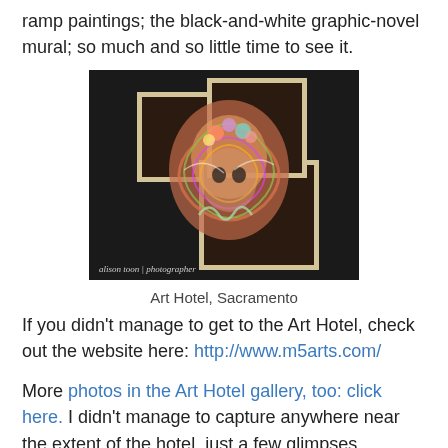ramp paintings; the black-and-white graphic-novel mural; so much and so little time to see it.
[Figure (photo): Photo of layered shadow box art pieces mounted on dark wall, showing colorful sculptural paper/mixed-media faces in wooden box frames. Credit: alison toon | photographer]
Art Hotel, Sacramento
If you didn't manage to get to the Art Hotel, check out the website here: http://www.m5arts.com/
More photos in the Art Hotel gallery, too: click here. I didn't manage to capture anywhere near the extent of the hotel, just a few glimpses.
Sacramento needs more of this. Thank you to M5ARTS and